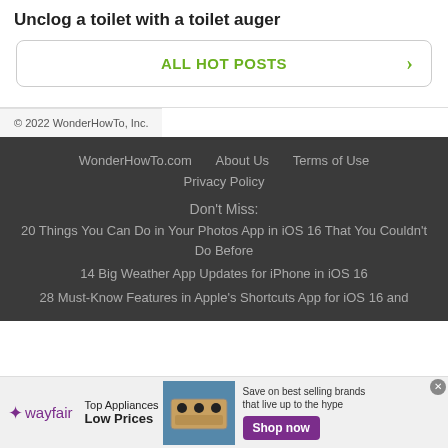Unclog a toilet with a toilet auger
ALL HOT POSTS
© 2022 WonderHowTo, Inc.
WonderHowTo.com   About Us   Terms of Use   Privacy Policy
Don't Miss:
20 Things You Can Do in Your Photos App in iOS 16 That You Couldn't Do Before
14 Big Weather App Updates for iPhone in iOS 16
28 Must-Know Features in Apple's Shortcuts App for iOS 16 and
[Figure (infographic): Wayfair advertisement banner: wayfair logo, Top Appliances Low Prices text, stove image, Save on best selling brands that live up to the hype, Shop now button]